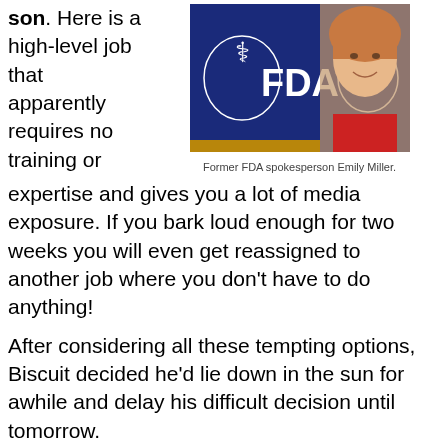son. Here is a high-level job that apparently requires no training or expertise and gives you a lot of media exposure. If you bark loud enough for two weeks you will even get reassigned to another job where you don't have to do anything!
[Figure (photo): Photo collage: FDA blue sign with eagle logo on left, smiling blonde woman on right]
Former FDA spokesperson Emily Miller.
After considering all these tempting options, Biscuit decided he'd lie down in the sun for awhile and delay his difficult decision until tomorrow.
Share this: